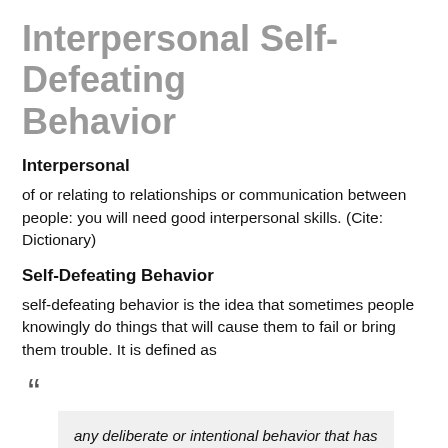Interpersonal Self-Defeating Behavior
Interpersonal
of or relating to relationships or communication between people: you will need good interpersonal skills. (Cite: Dictionary)
Self-Defeating Behavior
self-defeating behavior is the idea that sometimes people knowingly do things that will cause them to fail or bring them trouble. It is defined as
“ any deliberate or intentional behavior that has clear, definitely or probably negative effects on the ... cts.
Privacy & Cookies Policy